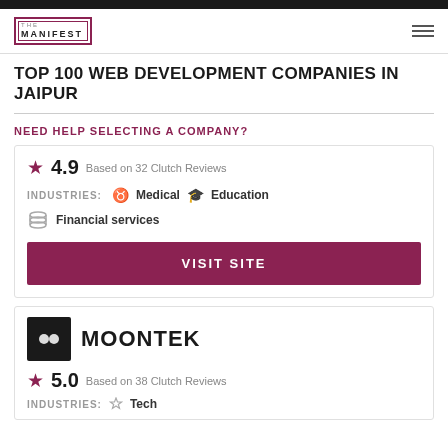THE MANIFEST
TOP 100 WEB DEVELOPMENT COMPANIES IN JAIPUR
NEED HELP SELECTING A COMPANY?
★ 4.9   Based on 32 Clutch Reviews
INDUSTRIES:   Medical   Education   Financial services
VISIT SITE
MOONTEK
★ 5.0   Based on 38 Clutch Reviews
INDUSTRIES: